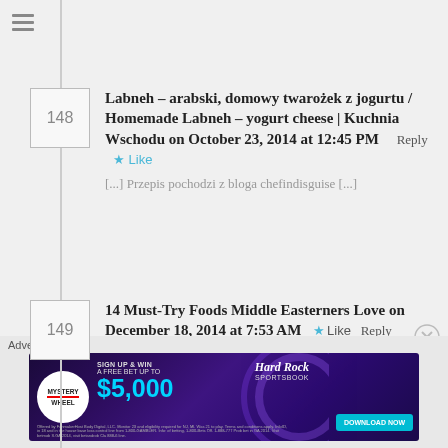148 – Labneh – arabski, domowy twarożek z jogurtu / Homemade Labneh – yogurt cheese | Kuchnia Wschodu on October 23, 2014 at 12:45 PM Reply Like [...] Przepis pochodzi z bloga chefindisguise [...]
149 – 14 Must-Try Foods Middle Easterners Love on December 18, 2014 at 7:53 AM Reply Like [...] a versatile dip that adds another flavor to the mezze spread and, get this, is also apparently easy to make. Gotta love the [...]
Advertisements
[Figure (photo): Hard Rock Sportsbook advertisement banner: Mystery Wheel, Sign Up & Win A Free Bet Up To $5,000, Download Now button on teal background]